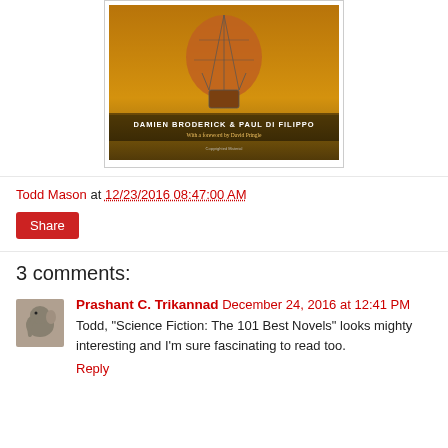[Figure (illustration): Book cover image for a science fiction anthology by Damien Broderick & Paul Di Filippo, with a foreword by David Pringle. Shows a steampunk-style hot air balloon against a golden sky over water. Text on cover reads 'DAMIEN BRODERICK & PAUL DI FILIPPO', 'With a foreword by David Pringle', and 'Copyrighted Material'.]
Todd Mason at 12/23/2016 08:47:00 AM
Share
3 comments:
Prashant C. Trikannad December 24, 2016 at 12:41 PM
Todd, "Science Fiction: The 101 Best Novels" looks mighty interesting and I'm sure fascinating to read too.
Reply